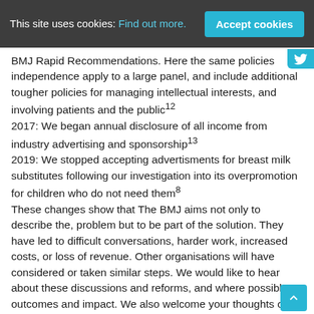This site uses cookies: Find out more.   Accept cookies
BMJ Rapid Recommendations. Here the same policies independence apply to a large panel, and include additional tougher policies for managing intellectual interests, and involving patients and the public12
2017: We began annual disclosure of all income from industry advertising and sponsorship13
2019: We stopped accepting advertisments for breast milk substitutes following our investigation into its overpromotion for children who do not need them8
These changes show that The BMJ aims not only to describe the, problem but to be part of the solution. They have led to difficult conversations, harder work, increased costs, or loss of revenue. Other organisations will have considered or taken similar steps. We would like to hear about these discussions and reforms, and where possible, outcomes and impact. We also welcome your thoughts on